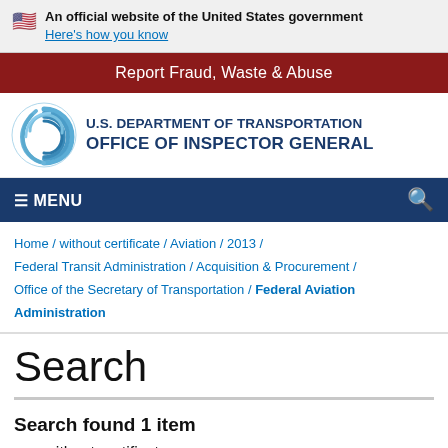An official website of the United States government Here's how you know
Report Fraud, Waste & Abuse
[Figure (logo): U.S. Department of Transportation Office of Inspector General logo with circular blue swirl emblem]
≡ MENU
Home / without certificate / Aviation / 2013 / Federal Transit Administration / Acquisition & Procurement / Office of the Secretary of Transportation / Federal Aviation Administration
Search
Search found 1 item
without certificate